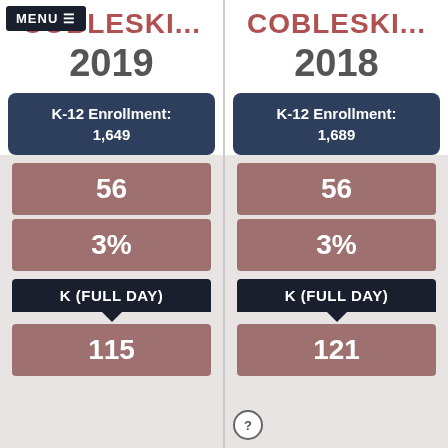MENU
COBLESKI... 2019
| K-12 Enrollment |
| --- |
| 1,649 |
56
3%
K (FULL DAY)
115
COBLESKI... 2018
| K-12 Enrollment |
| --- |
| 1,689 |
56
3%
K (FULL DAY)
121